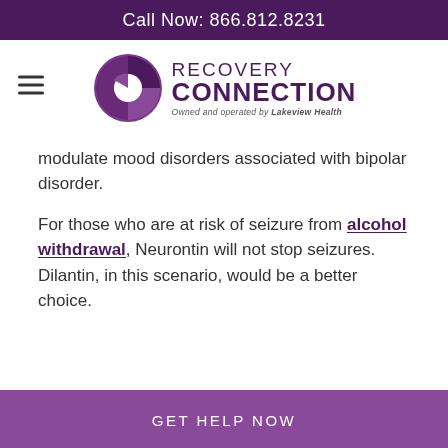Call Now: 866.812.8231
[Figure (logo): Recovery Connection logo — circular pie-chart icon in purple tones next to 'RECOVERY CONNECTION' wordmark with tagline 'Owned and operated by Lakeview Health']
modulate mood disorders associated with bipolar disorder.
For those who are at risk of seizure from alcohol withdrawal, Neurontin will not stop seizures. Dilantin, in this scenario, would be a better choice.
GET HELP NOW